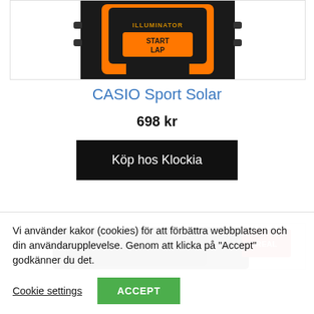[Figure (photo): Top portion of a Casio Sport Solar watch with orange and black design, showing 'ILLUMINATOR' and 'START LAP' text on the watch face]
CASIO Sport Solar
698 kr
Köp hos Klockia
[Figure (photo): Partial view of another watch product with dark/black color and red 'REAL' label visible]
Vi använder kakor (cookies) för att förbättra webbplatsen och din användarupplevelse. Genom att klicka på "Accept" godkänner du det.
Cookie settings
ACCEPT